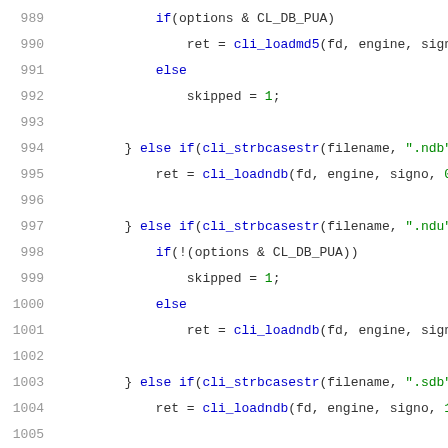Code listing lines 989-1009 showing C source code with if/else conditionals checking file extensions (.ndb, .ndu, .sdb, .zmd, .rmd) and calling cli_loadmd5, cli_loadndb, cli_loadmd functions.